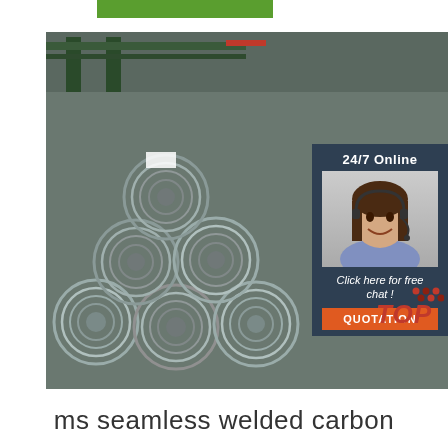[Figure (photo): Green horizontal bar at top of page, likely a logo/brand element]
[Figure (photo): Large photograph of stacked metal wire rod coils in an industrial warehouse with green steel structure in background. An overlay chat widget appears on right side showing '24/7 Online' text, a customer service agent photo, 'Click here for free chat!' text, and an orange QUOTATION button. A 'TOP' badge with red dots appears in lower right.]
ms seamless welded carbon